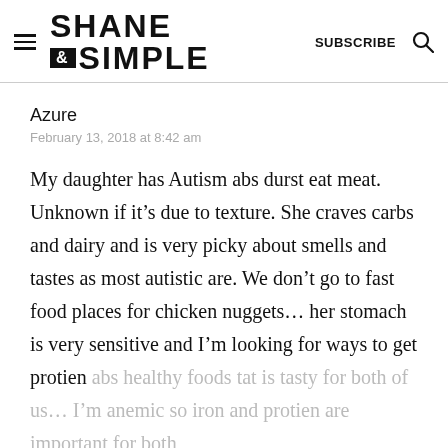SHANE & SIMPLE  SUBSCRIBE
Azure
February 13, 2018 at 8:42 am
My daughter has Autism abs durst eat meat. Unknown if it’s due to texture. She craves carbs and dairy and is very picky about smells and tastes as most autistic are. We don’t go to fast food places for chicken nuggets… her stomach is very sensitive and I’m looking for ways to get protien abs healthy foods tat is tasty for both of us… I’m anemic so iron and protien are important for both